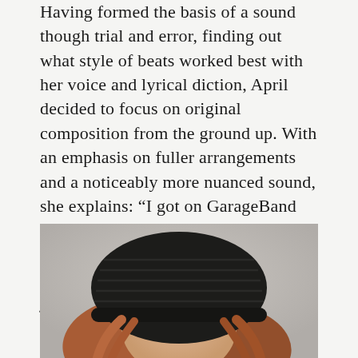Having formed the basis of a sound through trial and error, finding out what style of beats worked best with her voice and lyrical diction, April decided to focus on original composition from the ground up. With an emphasis on fuller arrangements and a noticeably more nuanced sound, she explains: “I got on GarageBand and I started playing a few chords on a keyboard and then getting beat samples from Splice and I’ve kinda just done that ever since.”
[Figure (photo): Portrait photo of a young woman with reddish-brown hair wearing a black knit beanie hat, photographed against a light grey background. Only the top portion of her face and hat are visible, cropped at the bottom of the page.]